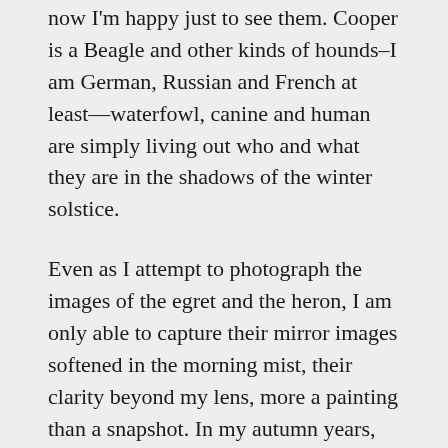now I'm happy just to see them. Cooper is a Beagle and other kinds of hounds–I am German, Russian and French at least—waterfowl, canine and human are simply living out who and what they are in the shadows of the winter solstice.
Even as I attempt to photograph the images of the egret and the heron, I am only able to capture their mirror images softened in the morning mist, their clarity beyond my lens, more a painting than a snapshot. In my autumn years, my focus blurs distinctions in any species.